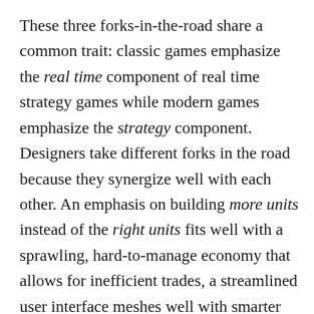These three forks-in-the-road share a common trait: classic games emphasize the real time component of real time strategy games while modern games emphasize the strategy component. Designers take different forks in the road because they synergize well with each other. An emphasis on building more units instead of the right units fits well with a sprawling, hard-to-manage economy that allows for inefficient trades, a streamlined user interface meshes well with smarter units that are easier to handle, and so on.